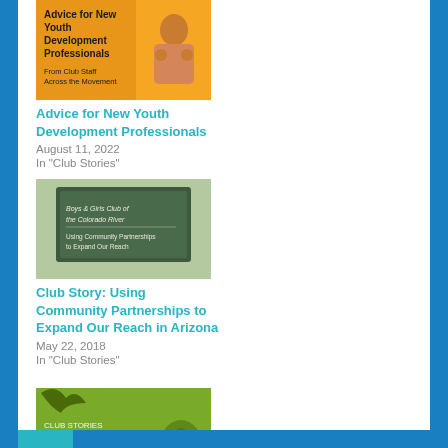[Figure (photo): Book cover: Advice for New Youth Development Professionals - From Club Staff Across the Movement, showing a woman with fists raised]
Advice for New Youth Development Professionals
August 11, 2022
In "Club Stories"
[Figure (photo): Chalkboard sign reading Using Community Partnerships to Expand Our Reach]
Club Story: Using Community Partnerships to Expand Our Reach in Arizona
May 22, 2018
In "Club Stories"
[Figure (photo): Green book cover: Club Stories - What We Are Thankful for in 2020, with peacock illustration]
Club Stories: What We Are Thankful For in 2020
November 25, 2020
In "Club Stories"